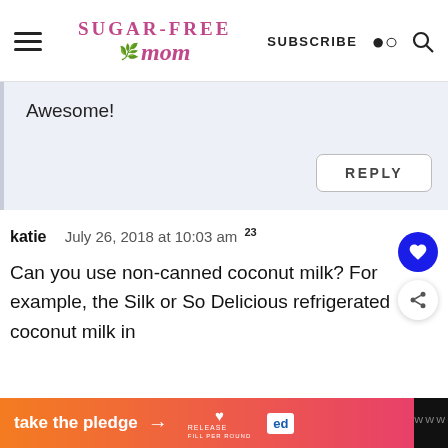Sugar-Free Mom — SUBSCRIBE
Awesome!
REPLY
katie   July 26, 2018 at 10:03 am  23
Can you use non-canned coconut milk? For example, the Silk or So Delicious refrigerated coconut milk in
take the pledge →